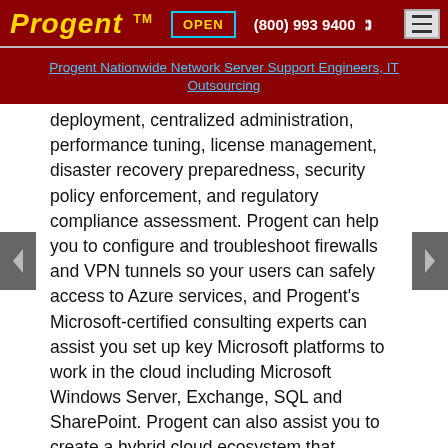Progent™  OPEN  (800) 993 9400  ☎
Progent Nationwide Network Server Support Engineers, IT Outsourcing
deployment, centralized administration, performance tuning, license management, disaster recovery preparedness, security policy enforcement, and regulatory compliance assessment. Progent can help you to configure and troubleshoot firewalls and VPN tunnels so your users can safely access to Azure services, and Progent's Microsoft-certified consulting experts can assist you set up key Microsoft platforms to work in the cloud including Microsoft Windows Server, Exchange, SQL and SharePoint. Progent can also assist you to create a hybrid cloud ecosystem that transparently combines on-premises datacenters with Azure resources.